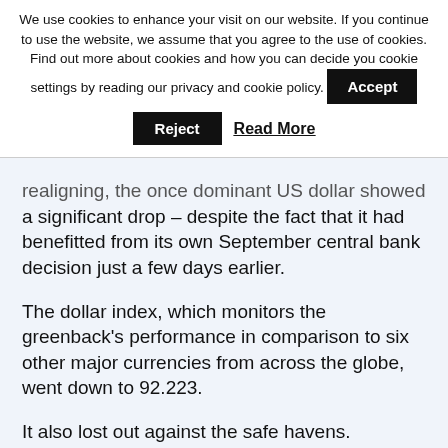We use cookies to enhance your visit on our website. If you continue to use the website, we assume that you agree to the use of cookies. Find out more about cookies and how you can decide you cookie settings by reading our privacy and cookie policy.
Accept
Reject
Read More
realigning, the once dominant US dollar showed a significant drop – despite the fact that it had benefitted from its own September central bank decision just a few days earlier.
The dollar index, which monitors the greenback's performance in comparison to six other major currencies from across the globe, went down to 92.223.
It also lost out against the safe havens.
It was recorded at 0.9910 in its pair with the